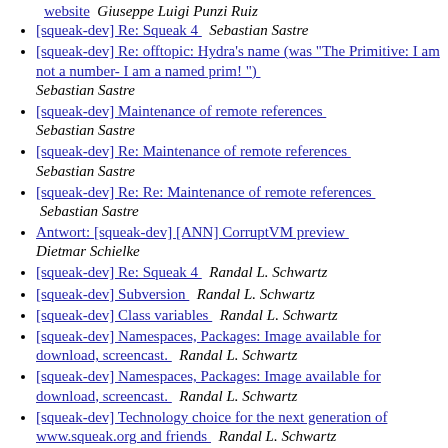website  Giuseppe Luigi Punzi Ruiz
[squeak-dev] Re: Squeak 4   Sebastian Sastre
[squeak-dev] Re: offtopic: Hydra's name (was "The Primitive: I am not a number- I am a named prim! ")   Sebastian Sastre
[squeak-dev] Maintenance of remote references   Sebastian Sastre
[squeak-dev] Re: Maintenance of remote references   Sebastian Sastre
[squeak-dev] Re: Re: Maintenance of remote references   Sebastian Sastre
Antwort: [squeak-dev] [ANN] CorruptVM preview   Dietmar Schielke
[squeak-dev] Re: Squeak 4   Randal L. Schwartz
[squeak-dev] Subversion   Randal L. Schwartz
[squeak-dev] Class variables   Randal L. Schwartz
[squeak-dev] Namespaces, Packages: Image available for download, screencast.   Randal L. Schwartz
[squeak-dev] Namespaces, Packages: Image available for download, screencast.   Randal L. Schwartz
[squeak-dev] Technology choice for the next generation of www.squeak.org and friends   Randal L. Schwartz
[squeak-dev] Technology choice for the next generation of www.squeak.org and friends   Randal L. Schwartz
[squeak-dev] About on:do:   Randal L. Schwartz